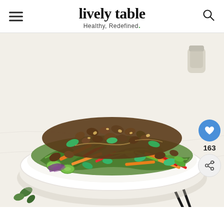lively table — Healthy, Redefined.
[Figure (photo): A large white plate piled high with a colorful Thai-style ground beef salad featuring carrots, red bell pepper, cucumber slices, fresh herbs (mint, cilantro, basil), green onions, purple cabbage, and seasoned ground beef crumbles, photographed on a white marble surface with a small sauce pitcher and chopsticks in the background. Social share overlay shows a blue heart button and a share icon with count 163.]